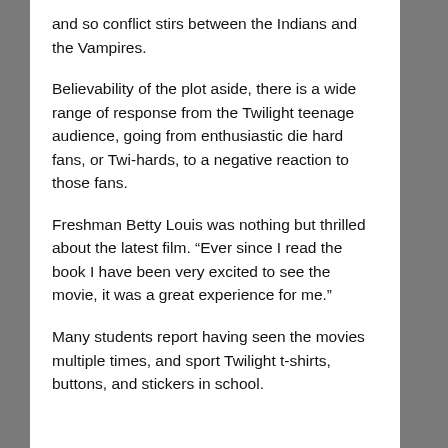and so conflict stirs between the Indians and the Vampires.
Believability of the plot aside, there is a wide range of response from the Twilight teenage audience, going from enthusiastic die hard fans, or Twi-hards, to a negative reaction to those fans.
Freshman Betty Louis was nothing but thrilled about the latest film. “Ever since I read the book I have been very excited to see the movie, it was a great experience for me.”
Many students report having seen the movies multiple times, and sport Twilight t-shirts, buttons, and stickers in school.